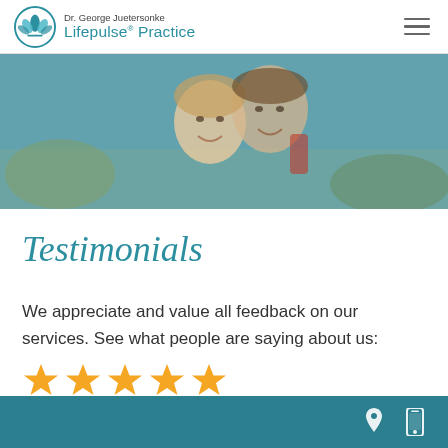[Figure (logo): Dr. George Juetersonke Lifepulse Practice logo with teal lotus/leaf icon]
[Figure (photo): Hero banner photo of a smiling couple outdoors with a teal overlay, the woman in front and man behind her with a backpack]
Testimonials
We appreciate and value all feedback on our services. See what people are saying about us:
[Figure (other): Five gold star rating icons]
Footer bar with location pin icon and mobile phone icon